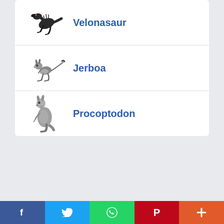Velonasaur
Jerboa
Procoptodon
Facebook | Twitter | WhatsApp | Pinterest | More